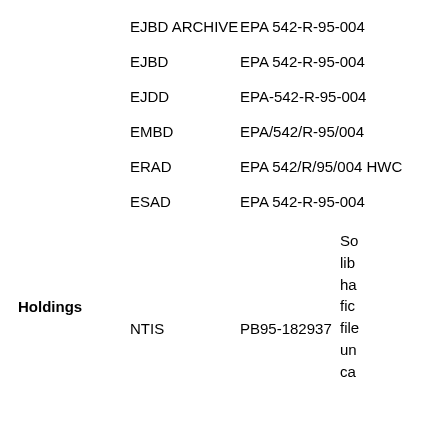EJBD ARCHIVE   EPA 542-R-95-004
EJBD   EPA 542-R-95-004
EJDD   EPA-542-R-95-004
EMBD   EPA/542/R-95/004
ERAD   EPA 542/R/95/004 HWC
Holdings
ESAD   EPA 542-R-95-004
So lib ha fic file un ca
NTIS   PB95-182937